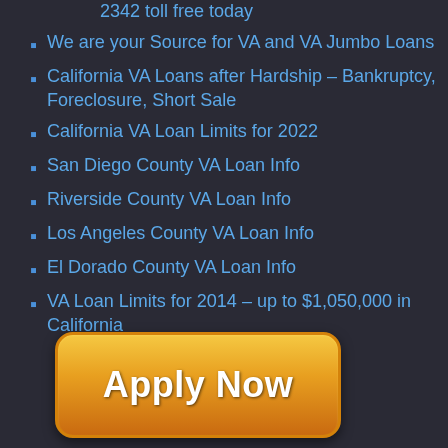2342 toll free today
We are your Source for VA and VA Jumbo Loans
California VA Loans after Hardship – Bankruptcy, Foreclosure, Short Sale
California VA Loan Limits for 2022
San Diego County VA Loan Info
Riverside County VA Loan Info
Los Angeles County VA Loan Info
El Dorado County VA Loan Info
VA Loan Limits for 2014 – up to $1,050,000 in California
[Figure (other): Orange gradient Apply Now button with white bold text]